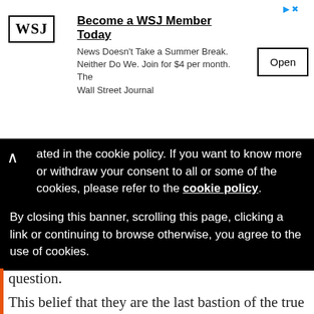[Figure (screenshot): WSJ advertisement banner: 'Become a WSJ Member Today' with WSJ logo, tagline text, and Open button]
ated in the cookie policy. If you want to know more or withdraw your consent to all or some of the cookies, please refer to the cookie policy.
By closing this banner, scrolling this page, clicking a link or continuing to browse otherwise, you agree to the use of cookies.
question.
This belief that they are the last bastion of the true Catholic Church, and their doubt regarding the validity of ordinations performed under the new rites, probably explain why our reader was told that she would have to first confess with one of their priests before receiving Communion.